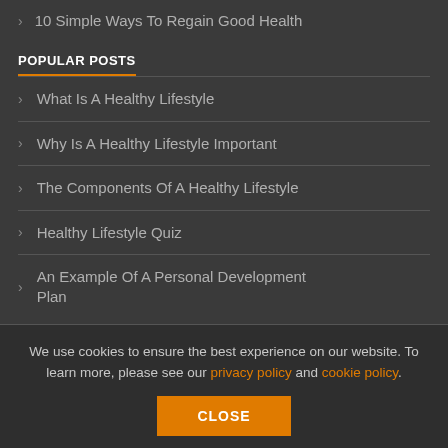10 Simple Ways To Regain Good Health
POPULAR POSTS
What Is A Healthy Lifestyle
Why Is A Healthy Lifestyle Important
The Components Of A Healthy Lifestyle
Healthy Lifestyle Quiz
An Example Of A Personal Development Plan
We use cookies to ensure the best experience on our website. To learn more, please see our privacy policy and cookie policy.